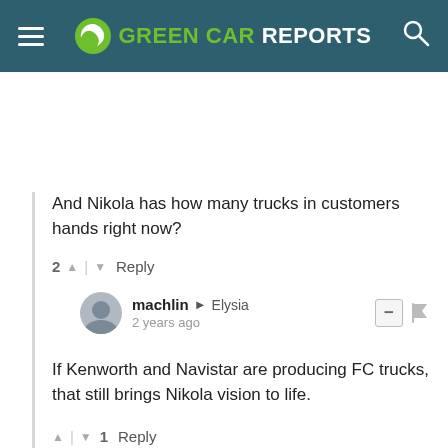GREEN CAR REPORTS
And Nikola has how many trucks in customers hands right now?
2 ↑ | ↓ Reply
machlin → Elysia
2 years ago
If Kenworth and Navistar are producing FC trucks, that still brings Nikola vision to life.
↑ | ↓ 1 Reply